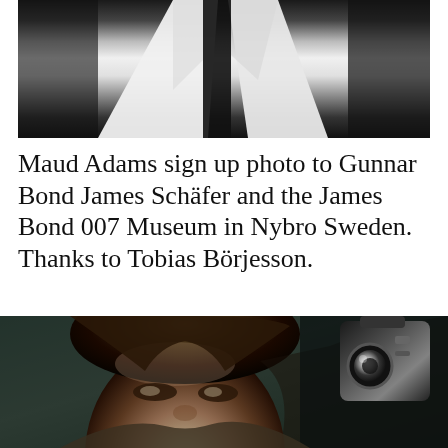[Figure (photo): Black and white photograph showing lower portion of a person (Maud Adams) in a white suit jacket against a dark background, cropped to show torso/chest area only.]
Maud Adams sign up photo to Gunnar Bond James Schäfer and the James Bond 007 Museum in Nybro Sweden. Thanks to Tobias Börjesson.
[Figure (photo): Black and white photograph of Maud Adams, showing her face and upper body. She has medium-length hair with bangs, gazing toward the camera. A camera or equipment is visible in the background on the right side. The background appears dark with some drapery.]